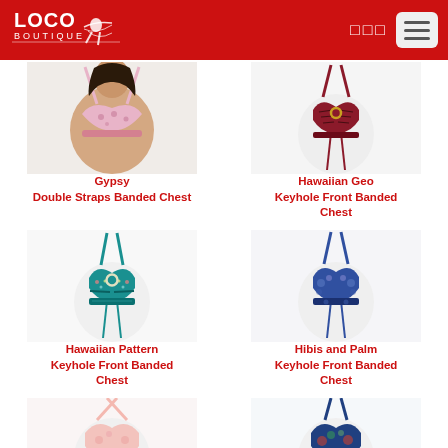Loco Boutique
[Figure (photo): Gypsy Double Straps Banded Chest bikini top - floral print]
Gypsy
Double Straps Banded Chest
[Figure (photo): Hawaiian Geo Keyhole Front Banded Chest bikini top - red/black print]
Hawaiian Geo
Keyhole Front Banded Chest
[Figure (photo): Hawaiian Pattern Keyhole Front Banded Chest bikini top - teal geometric]
Hawaiian Pattern
Keyhole Front Banded Chest
[Figure (photo): Hibis and Palm Keyhole Front Banded Chest bikini top - blue floral]
Hibis and Palm
Keyhole Front Banded Chest
[Figure (photo): Light pink halter bikini top - partial view]
[Figure (photo): Blue tropical print halter bikini top - partial view]